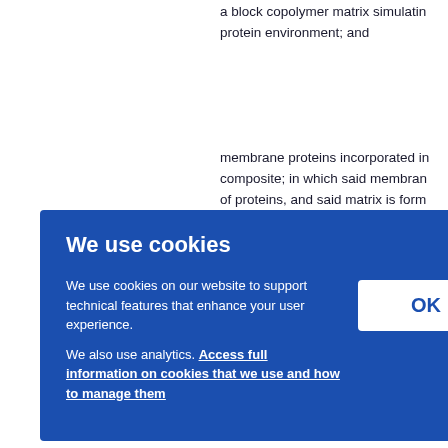a block copolymer matrix simulating protein environment; and
membrane proteins incorporated in composite; in which said membrane of proteins, and said matrix is formed outer blocks and hydrophobic inner
Herein below "tri-block copolymers inner blocks" are also indicated in b
odged al fi sidere
Carl
ol for brane
We use cookies
We use cookies on our website to support technical features that enhance your user experience.
We also use analytics. Access full information on cookies that we use and how to manage them
OK